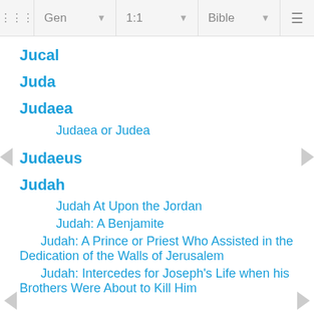Gen  1:1  Bible
Jucal
Juda
Judaea
Judaea or Judea
Judaeus
Judah
Judah At Upon the Jordan
Judah: A Benjamite
Judah: A Prince or Priest Who Assisted in the Dedication of the Walls of Jerusalem
Judah: Intercedes for Joseph's Life when his Brothers Were About to Kill Him